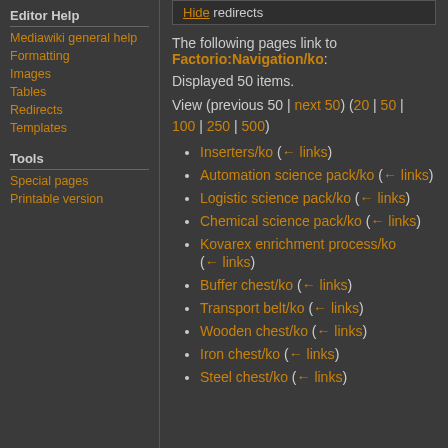Hide redirects
Editor Help
Mediawiki general help
Formatting
Images
Tables
Redirects
Templates
Tools
Special pages
Printable version
The following pages link to Factorio:Navigation/ko:
Displayed 50 items.
View (previous 50 | next 50) (20 | 50 | 100 | 250 | 500)
Inserters/ko  (← links)
Automation science pack/ko  (← links)
Logistic science pack/ko  (← links)
Chemical science pack/ko  (← links)
Kovarex enrichment process/ko  (← links)
Buffer chest/ko  (← links)
Transport belt/ko  (← links)
Wooden chest/ko  (← links)
Iron chest/ko  (← links)
Steel chest/ko  (← links)